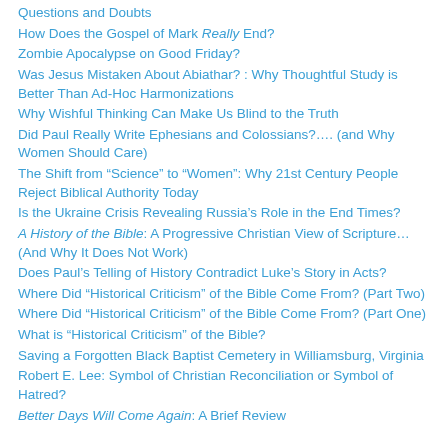Questions and Doubts
How Does the Gospel of Mark Really End?
Zombie Apocalypse on Good Friday?
Was Jesus Mistaken About Abiathar? : Why Thoughtful Study is Better Than Ad-Hoc Harmonizations
Why Wishful Thinking Can Make Us Blind to the Truth
Did Paul Really Write Ephesians and Colossians?…. (and Why Women Should Care)
The Shift from “Science” to “Women”: Why 21st Century People Reject Biblical Authority Today
Is the Ukraine Crisis Revealing Russia’s Role in the End Times?
A History of the Bible: A Progressive Christian View of Scripture… (And Why It Does Not Work)
Does Paul’s Telling of History Contradict Luke’s Story in Acts?
Where Did “Historical Criticism” of the Bible Come From? (Part Two)
Where Did “Historical Criticism” of the Bible Come From? (Part One)
What is “Historical Criticism” of the Bible?
Saving a Forgotten Black Baptist Cemetery in Williamsburg, Virginia
Robert E. Lee: Symbol of Christian Reconciliation or Symbol of Hatred?
Better Days Will Come Again: A Brief Review